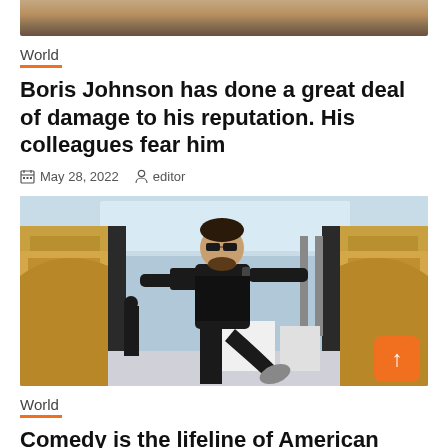[Figure (photo): Top portion of a cropped photo, tan/brown tones]
World
Boris Johnson has done a great deal of damage to his reputation. His colleagues fear him
May 28, 2022   editor
[Figure (photo): Man in black clothing and sunglasses doing a high kick in a decorated hall with ornate walls]
World
Comedy is the lifeline of American